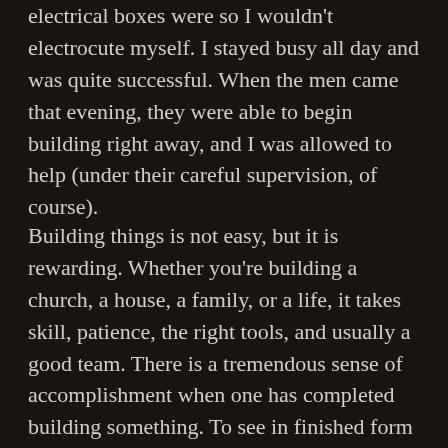electrical boxes were so I wouldn't electrocute myself. I stayed busy all day and was quite successful. When the men came that evening, they were able to begin building right away, and I was allowed to help (under their careful supervision, of course).
Building things is not easy, but it is rewarding. Whether you're building a church, a house, a family, or a life, it takes skill, patience, the right tools, and usually a good team. There is a tremendous sense of accomplishment when one has completed building something. To see in finished form what began as a dream in one's heart is very rewarding. However, I have noticed a sad reality in our world. Not everyone will rejoice in what you build. Granted, some things should have never been built, such as the Playboy empire of Hugh Hefner, the Nazi